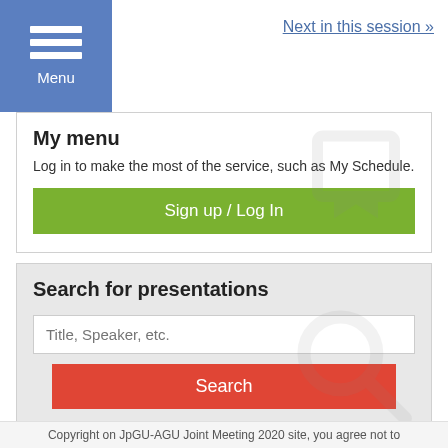Menu | Next in this session »
My menu
Log in to make the most of the service, such as My Schedule.
Sign up / Log In
Search for presentations
Title, Speaker, etc.
Search
» Advanced Search
Meetings in the past
Copyright on JpGU-AGU Joint Meeting 2020 site, you agree not to